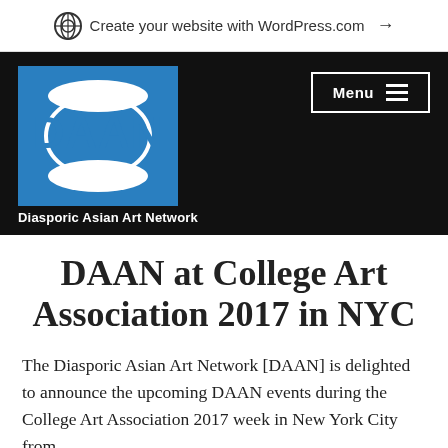Create your website with WordPress.com →
[Figure (logo): DAAN (Diasporic Asian Art Network) logo — blue square with white ellipse and DAAN text, on black header background with Menu button]
DAAN at College Art Association 2017 in NYC
The Diasporic Asian Art Network [DAAN] is delighted to announce the upcoming DAAN events during the College Art Association 2017 week in New York City from